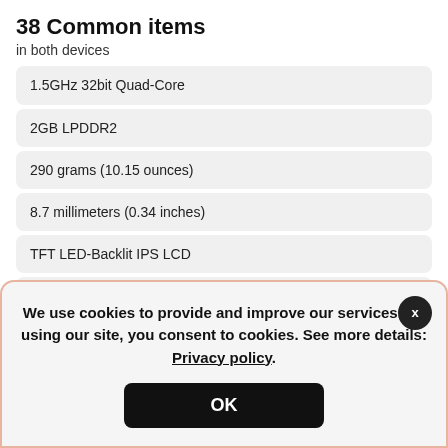38 Common items
in both devices
1.5GHz 32bit Quad-Core
2GB LPDDR2
290 grams (10.15 ounces)
8.7 millimeters (0.34 inches)
TFT LED-Backlit IPS LCD
16 million
1200x1920 pixels
+31 specs and more in the table below
We use cookies to provide and improve our services. By using our site, you consent to cookies. See more details: Privacy policy.
OK